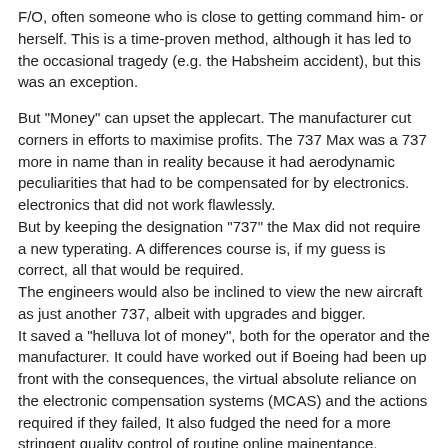F/O, often someone who is close to getting command him- or herself. This is a time-proven method, although it has led to the occasional tragedy (e.g. the Habsheim accident), but this was an exception.
But "Money" can upset the applecart. The manufacturer cut corners in efforts to maximise profits. The 737 Max was a 737 more in name than in reality because it had aerodynamic peculiarities that had to be compensated for by electronics. electronics that did not work flawlessly. But by keeping the designation "737" the Max did not require a new typerating. A differences course is, if my guess is correct, all that would be required. The engineers would also be inclined to view the new aircraft as just another 737, albeit with upgrades and bigger. It saved a "helluva lot of money", both for the operator and the manufacturer. It could have worked out if Boeing had been up front with the consequences, the virtual absolute reliance on the electronic compensation systems (MCAS) and the actions required if they failed, It also fudged the need for a more stringent quality control of routine online mainentance.
In the end, sadly, there were only losers.